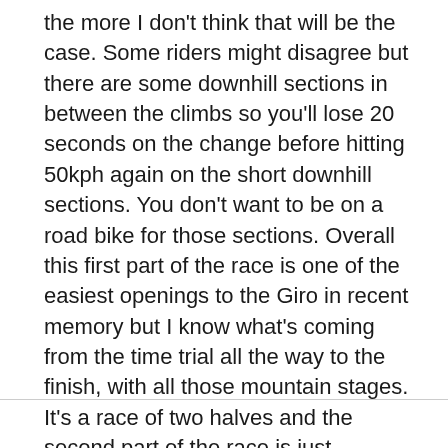the more I don't think that will be the case. Some riders might disagree but there are some downhill sections in between the climbs so you'll lose 20 seconds on the change before hitting 50kph again on the short downhill sections. You don't want to be on a road bike for those sections. Overall this first part of the race is one of the easiest openings to the Giro in recent memory but I know what's coming from the time trial all the way to the finish, with all those mountain stages. It's a race of two halves and the second part of the race is just relentless.